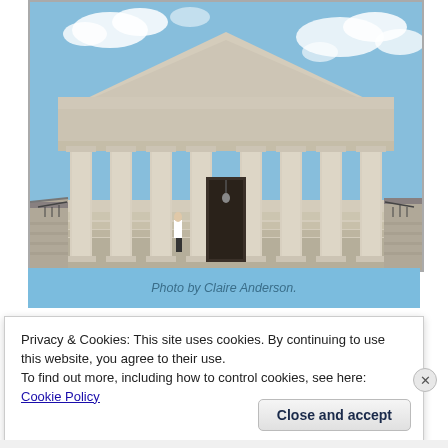[Figure (photo): Photograph of the United States Supreme Court building front facade with columns, pediment, and blue sky with clouds. A person in white shirt stands on the steps.]
Photo by Claire Anderson.
Privacy & Cookies: This site uses cookies. By continuing to use this website, you agree to their use.
To find out more, including how to control cookies, see here: Cookie Policy